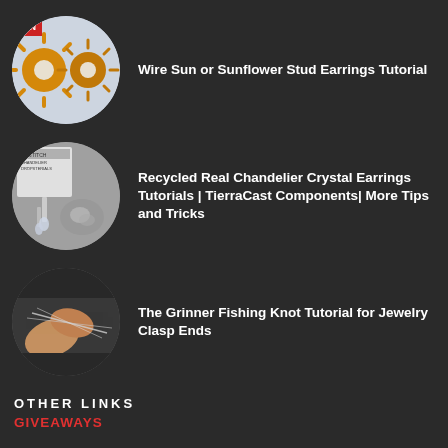[Figure (photo): Circular thumbnail of wire sun or sunflower stud earrings in gold with white pearl centers on light background]
Wire Sun or Sunflower Stud Earrings Tutorial
[Figure (photo): Circular thumbnail of recycled chandelier crystal earrings with TierraCast components, showing crystals and packaging]
Recycled Real Chandelier Crystal Earrings Tutorials | TierraCast Components| More Tips and Tricks
[Figure (photo): Circular thumbnail of hands tying a fishing knot with thin wire/thread on dark background]
The Grinner Fishing Knot Tutorial for Jewelry Clasp Ends
OTHER LINKS
GIVEAWAYS